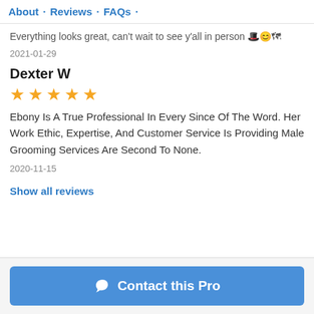About · Reviews · FAQs ·
Everything looks great, can't wait to see y'all in person 🎩😊🗺
2021-01-29
Dexter W
[Figure (other): 5 gold star rating]
Ebony Is A True Professional In Every Since Of The Word. Her Work Ethic, Expertise, And Customer Service Is Providing Male Grooming Services Are Second To None.
2020-11-15
Show all reviews
Contact this Pro